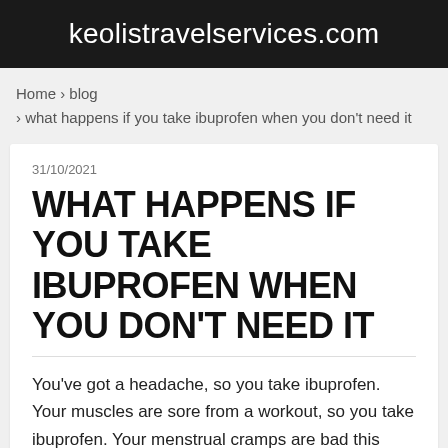keolistravelservices.com
Home › blog › what happens if you take ibuprofen when you don't need it
31/10/2021
WHAT HAPPENS IF YOU TAKE IBUPROFEN WHEN YOU DON'T NEED IT
You've got a headache, so you take ibuprofen. Your muscles are sore from a workout, so you take ibuprofen. Your menstrual cramps are bad this week, so you take ibuprofen.